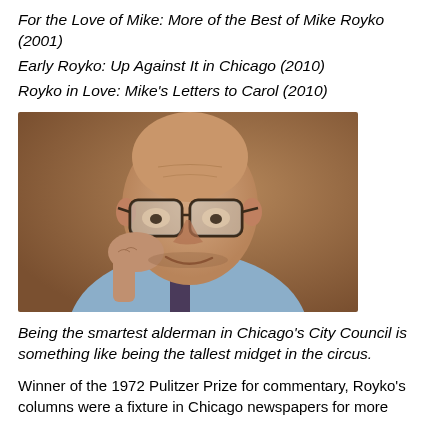For the Love of Mike: More of the Best of Mike Royko (2001)
Early Royko: Up Against It in Chicago (2010)
Royko in Love: Mike's Letters to Carol (2010)
[Figure (photo): Black and white portrait photo of Mike Royko, an older bald man wearing large glasses, resting his chin on his hand, wearing a light blue shirt and dark tie with suspenders, smiling slightly.]
Being the smartest alderman in Chicago's City Council is something like being the tallest midget in the circus.
Winner of the 1972 Pulitzer Prize for commentary, Royko's columns were a fixture in Chicago newspapers for more